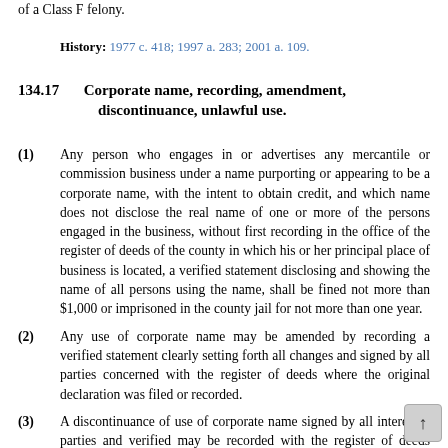of a Class F felony.
History: 1977 c. 418; 1997 a. 283; 2001 a. 109.
134.17   Corporate name, recording, amendment, discontinuance, unlawful use.
(1) Any person who engages in or advertises any mercantile or commission business under a name purporting or appearing to be a corporate name, with the intent to obtain credit, and which name does not disclose the real name of one or more of the persons engaged in the business, without first recording in the office of the register of deeds of the county in which his or her principal place of business is located, a verified statement disclosing and showing the name of all persons using the name, shall be fined not more than $1,000 or imprisoned in the county jail for not more than one year.
(2) Any use of corporate name may be amended by recording a verified statement clearly setting forth all changes and signed by all parties concerned with the register of deeds where the original declaration was filed or recorded.
(3) A discontinuance of use of corporate name signed by all interested parties and verified may be recorded with the register of deeds where the original declaration was filed or recorded.
(4) For each recording, the register of deeds shall receive the f specified for recording under s. 59.43 (2) (ag).